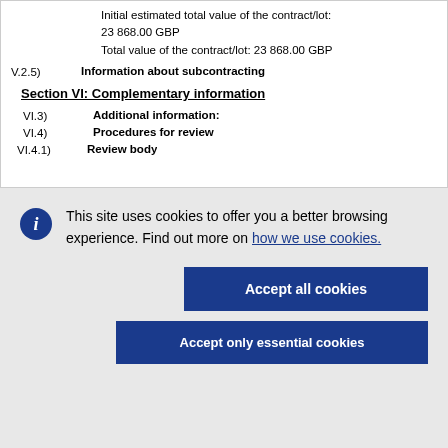Initial estimated total value of the contract/lot: 23 868.00 GBP
Total value of the contract/lot: 23 868.00 GBP
V.2.5) Information about subcontracting
Section VI: Complementary information
VI.3) Additional information:
VI.4) Procedures for review
VI.4.1) Review body
This site uses cookies to offer you a better browsing experience. Find out more on how we use cookies.
Accept all cookies
Accept only essential cookies